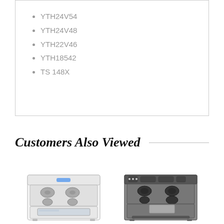YTH24V54
YTH24V48
YTH22V46
YTH18542
TS 148X
Customers Also Viewed
[Figure (photo): White gas range/stove appliance]
[Figure (photo): Stainless steel electric range/stove appliance]